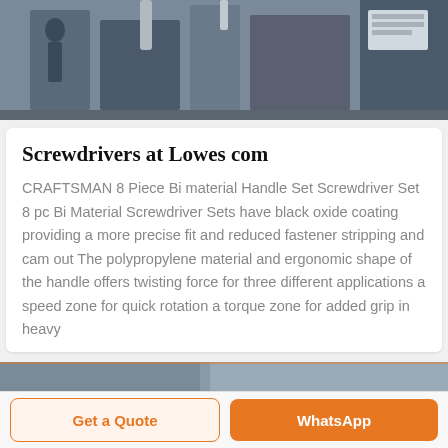[Figure (photo): Industrial machinery or equipment photo, partially cropped at the top of the page]
Screwdrivers at Lowes com
CRAFTSMAN 8 Piece Bi material Handle Set Screwdriver Set 8 pc Bi Material Screwdriver Sets have black oxide coating providing a more precise fit and reduced fastener stripping and cam out The polypropylene material and ergonomic shape of the handle offers twisting force for three different applications a speed zone for quick rotation a torque zone for added grip in heavy
[Figure (photo): Partially visible image strip at the bottom, cropped]
Get a Quote
WhatsApp